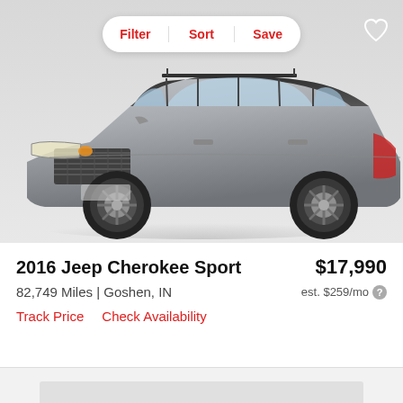[Figure (photo): Silver 2016 Jeep Cherokee Sport SUV, front three-quarter view on light gray background]
2016 Jeep Cherokee Sport
$17,990
82,749 Miles | Goshen, IN
est. $259/mo
Track Price   Check Availability